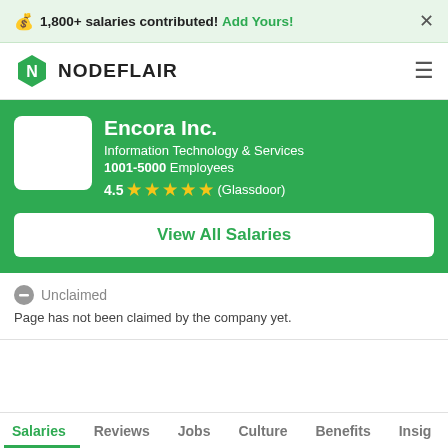💰 1,800+ salaries contributed! Add Yours! ×
[Figure (logo): NodeFlair logo - green hexagon with N letter]
Encora Inc.
Information Technology & Services
1001-5000 Employees
4.5 ★★★★½ (Glassdoor)
View All Salaries
Unclaimed
Page has not been claimed by the company yet.
Salaries   Reviews   Jobs   Culture   Benefits   Insig